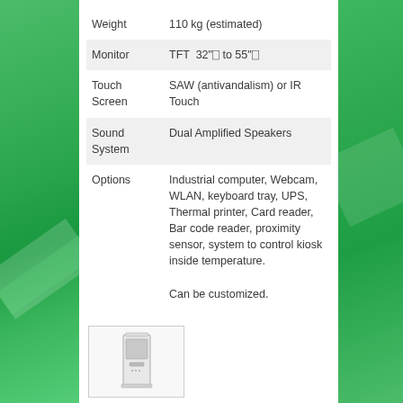| Property | Value |
| --- | --- |
| Weight | 110 kg (estimated) |
| Monitor | TFT  32"⎕ to 55"⎕ |
| Touch Screen | SAW (antivandalism) or IR Touch |
| Sound System | Dual Amplified Speakers |
| Options | Industrial computer, Webcam, WLAN, keyboard tray, UPS, Thermal printer, Card reader, Bar code reader, proximity sensor, system to control kiosk inside temperature.
Can be customized. |
[Figure (photo): Photo of a white kiosk enclosure/totem unit, shown front view inside a bordered box]